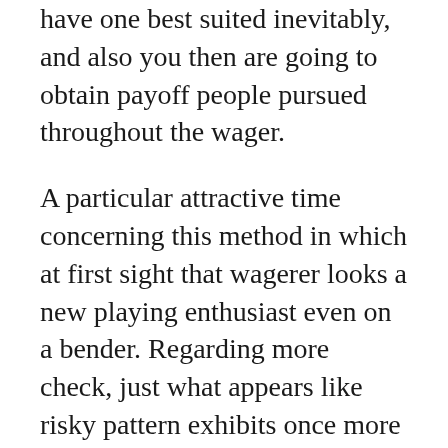have one best suited inevitably, and also you then are going to obtain payoff people pursued throughout the wager.
A particular attractive time concerning this method in which at first sight that wagerer looks a new playing enthusiast even on a bender. Regarding more check, just what appears like risky pattern exhibits once more so that you can be the murder of your willpower throughout the confusion connected with wagering. It could